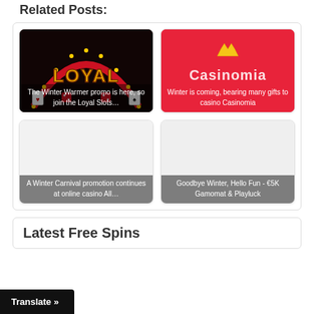Related Posts:
[Figure (photo): Casino card with Loyal Slots logo on dark background with red arch and lights. Caption overlay: The Winter Warmer promo is here, so join the Loyal Slots…]
[Figure (photo): Red background with Casinomia casino logo. Caption overlay: Winter is coming, bearing many gifts to casino Casinomia]
[Figure (photo): Light background card. Caption overlay: A Winter Carnival promotion continues at online casino All…]
[Figure (photo): Light background card. Caption overlay: Goodbye Winter, Hello Fun - €5K Gamomat & Playluck]
Latest Free Spins
Translate »